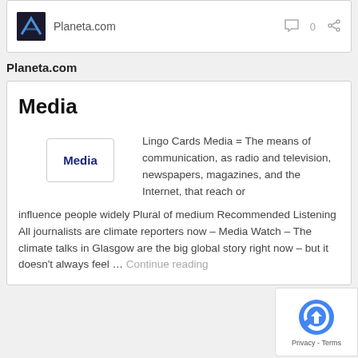Planeta.com
Planeta.com
Media
[Figure (illustration): Lingo card with bold text 'Media' on a white card with border]
Lingo Cards Media = The means of communication, as radio and television, newspapers, magazines, and the Internet, that reach or influence people widely Plural of medium Recommended Listening All journalists are climate reporters now – Media Watch – The climate talks in Glasgow are the big global story right now – but it doesn't always feel … Continue reading